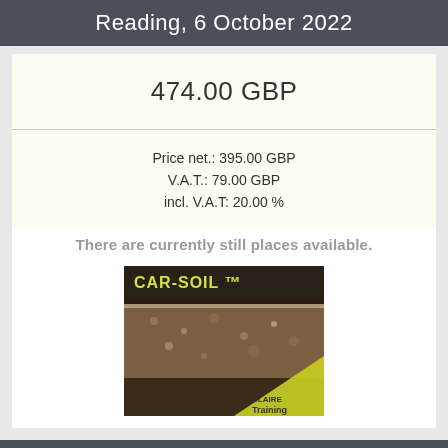Reading, 6 October 2022
474.00 GBP
Price net.: 395.00 GBP
V.A.T.: 79.00 GBP
incl. V.A.T: 20.00 %
There are currently still places available.
[Figure (photo): CAR-SOIL TM branding image showing a soil cross-section with CLAIRE Training logo in bottom right corner]